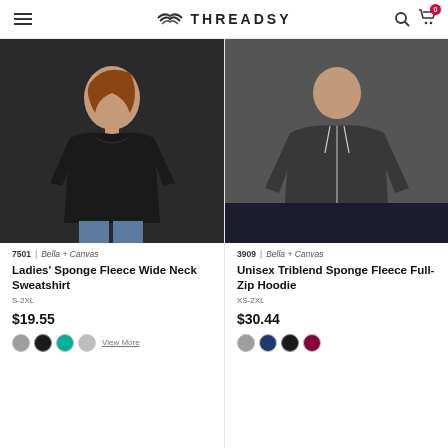THREADSY
[Figure (photo): Woman wearing black Ladies' Sponge Fleece Wide Neck Sweatshirt]
7501  |  Bella + Canvas
Ladies' Sponge Fleece Wide Neck Sweatshirt
S-2XL
$19.55
View More
[Figure (photo): Man wearing dark Unisex Triblend Sponge Fleece Full-Zip Hoodie]
3909  |  Bella + Canvas
Unisex Triblend Sponge Fleece Full-Zip Hoodie
XS-2XL
$30.44